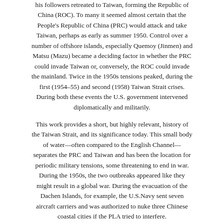his followers retreated to Taiwan, forming the Republic of China (ROC). To many it seemed almost certain that the People's Republic of China (PRC) would attack and take Taiwan, perhaps as early as summer 1950. Control over a number of offshore islands, especially Quemoy (Jinmen) and Matsu (Mazu) became a deciding factor in whether the PRC could invade Taiwan or, conversely, the ROC could invade the mainland. Twice in the 1950s tensions peaked, during the first (1954–55) and second (1958) Taiwan Strait crises. During both these events the U.S. government intervened diplomatically and militarily.
This work provides a short, but highly relevant, history of the Taiwan Strait, and its significance today. This small body of water—often compared to the English Channel—separates the PRC and Taiwan and has been the location for periodic military tensions, some threatening to end in war. During the 1950s, the two outbreaks appeared like they might result in a global war. During the evacuation of the Dachen Islands, for example, the U.S.Navy sent seven aircraft carriers and was authorized to nuke three Chinese coastal cities if the PLA tried to interfere.
In the modern era, the Taiwan Strait separates democratic Taiwan from the authoritarian PRC. This study will discuss the origins of these conflicts, the military aspects of the confrontations, and, in particular, the complicated and largely secret diplomatic negotiations—including two previously unknown Eisenhower-Chiang secret agreements—going on behind the scenes between